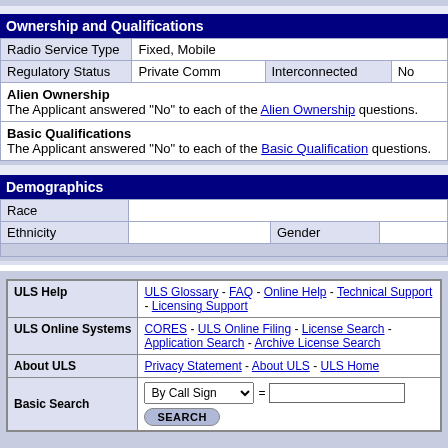Ownership and Qualifications
| Field | Value1 | Value2 | Value3 |
| --- | --- | --- | --- |
| Radio Service Type | Fixed, Mobile |  |  |
| Regulatory Status | Private Comm | Interconnected | No |
| Alien Ownership | The Applicant answered "No" to each of the Alien Ownership questions. |  |  |
| Basic Qualifications | The Applicant answered "No" to each of the Basic Qualification questions. |  |  |
Demographics
| Field | Value1 | Value2 | Value3 |
| --- | --- | --- | --- |
| Race |  |  |  |
| Ethnicity |  | Gender |  |
| Category | Links |
| --- | --- |
| ULS Help | ULS Glossary - FAQ - Online Help - Technical Support - Licensing Support |
| ULS Online Systems | CORES - ULS Online Filing - License Search - Application Search - Archive License Search |
| About ULS | Privacy Statement - About ULS - ULS Home |
| Basic Search | By Call Sign = [input] SEARCH |